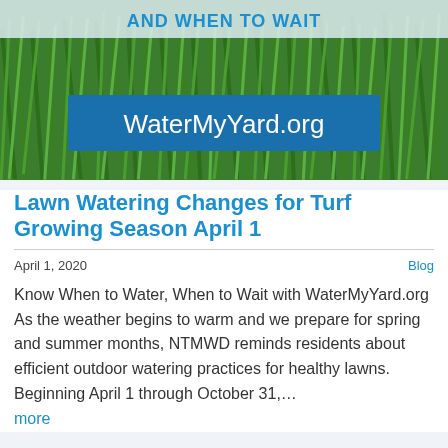[Figure (photo): Hero image of green grass/lawn with a blue banner overlay reading 'AND WHEN TO WAIT' at the top and a blue rectangle with white text 'WaterMyYard.org' in the center.]
Lawn Watering Changes for Turf Growing Season April 1
April 1, 2020
Blog
Know When to Water, When to Wait with WaterMyYard.org As the weather begins to warm and we prepare for spring and summer months, NTMWD reminds residents about efficient outdoor watering practices for healthy lawns. Beginning April 1 through October 31,… more